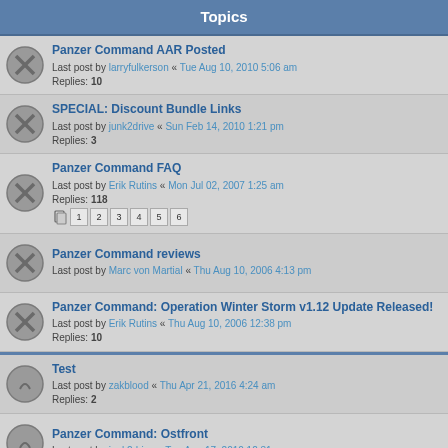Topics
Panzer Command AAR Posted
Last post by larryfulkerson « Tue Aug 10, 2010 5:06 am
Replies: 10
SPECIAL: Discount Bundle Links
Last post by junk2drive « Sun Feb 14, 2010 1:21 pm
Replies: 3
Panzer Command FAQ
Last post by Erik Rutins « Mon Jul 02, 2007 1:25 am
Replies: 118
Panzer Command reviews
Last post by Marc von Martial « Thu Aug 10, 2006 4:13 pm
Panzer Command: Operation Winter Storm v1.12 Update Released!
Last post by Erik Rutins « Thu Aug 10, 2006 12:38 pm
Replies: 10
Test
Last post by zakblood « Thu Apr 21, 2016 4:24 am
Replies: 2
Panzer Command: Ostfront
Last post by junk2drive « Tue Aug 17, 2010 12:31 am
Panzer Command YouTube Footage
Last post by junk2drive « Sat May 22, 2010 1:08 am
Replies: 3
some disc...